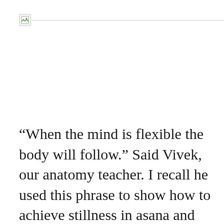[Figure (other): Broken image placeholder icon with a horizontal rule line extending to the right]
“When the mind is flexible the body will follow.” Said Vivek, our anatomy teacher. I recall he used this phrase to show how to achieve stillness in asana and point the relation between the two. Our body is just a tool where the conscious resides, often is controlled by the ego which is capable of self-destruction. Quite